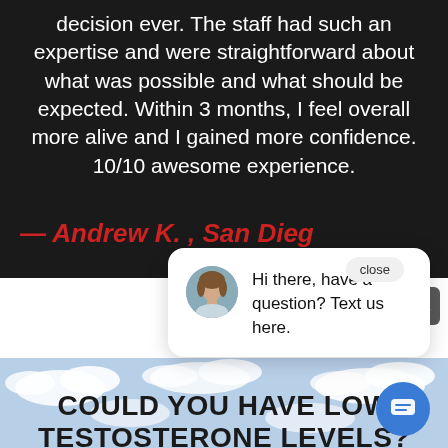decision ever. The staff had such an expertise and were straightforward about what was possible and what should be expected. Within 3 months, I feel overall more alive and I gained more confidence. 10/10 awesome experience.
— Andrew K. , San Diego
[Figure (screenshot): Chat popup with close button, avatar photo of a woman, and message: Hi there, have a question? Text us here.]
[Figure (photo): Blue sky with white clouds background]
COULD YOU HAVE LOW TESTOSTERONE LEVELS?